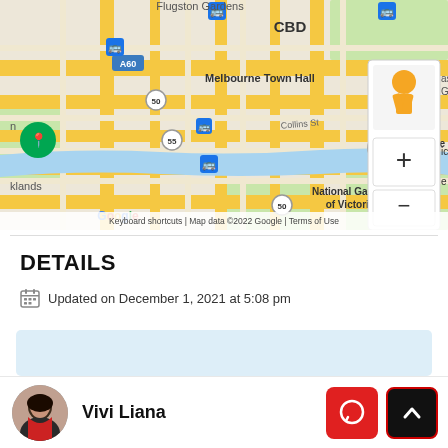[Figure (map): Google Maps screenshot showing Melbourne CBD area including Melbourne Town Hall, Collins St, Yarra River, National Gallery of Victoria, Fed Square, with zoom controls and street view icon. Map data ©2022 Google.]
DETAILS
Updated on December 1, 2021 at 5:08 pm
Vivi Liana